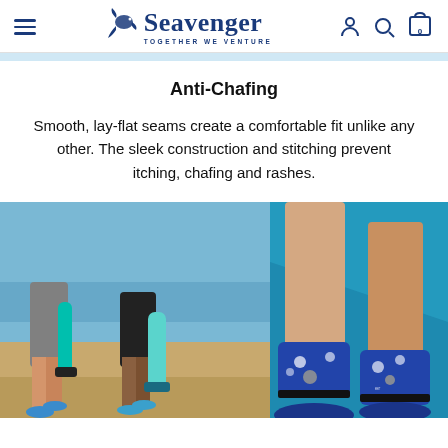Seavenger — TOGETHER WE VENTURE
Anti-Chafing
Smooth, lay-flat seams create a comfortable fit unlike any other. The sleek construction and stitching prevent itching, chafing and rashes.
[Figure (photo): Two people on a beach carrying snorkeling fins wearing aqua water shoes (left panel), and a close-up of legs wearing blue floral water socks/shoes on a teal background (right panel).]